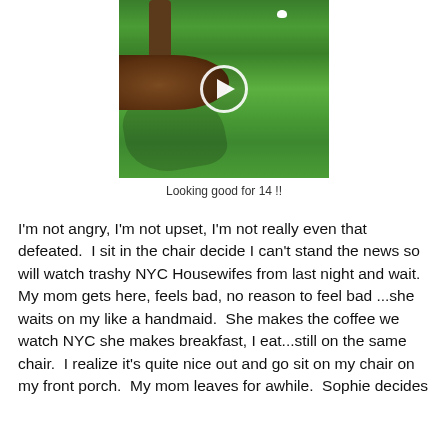[Figure (photo): A video thumbnail showing a sunny green lawn with a tree trunk and mulch area. A small white dog is visible in the background near the upper right. A white circular play button overlay is centered on the image.]
Looking good for 14 !!
I'm not angry, I'm not upset, I'm not really even that defeated.  I sit in the chair decide I can't stand the news so will watch trashy NYC Housewifes from last night and wait.  My mom gets here, feels bad, no reason to feel bad ...she waits on my like a handmaid.  She makes the coffee we watch NYC she makes breakfast, I eat...still on the same chair.  I realize it's quite nice out and go sit on my chair on my front porch.  My mom leaves for awhile.  Sophie decides to...